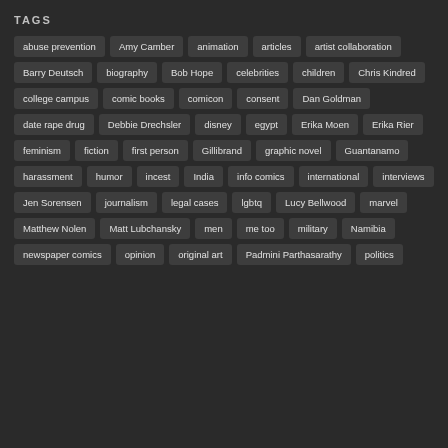TAGS
abuse prevention
Amy Camber
animation
articles
artist collaboration
Barry Deutsch
biography
Bob Hope
celebrities
children
Chris Kindred
college campus
comic books
comicon
consent
Dan Goldman
date rape drug
Debbie Drechsler
disney
egypt
Erika Moen
Erika Rier
feminism
fiction
first person
Gillibrand
graphic novel
Guantanamo
harassment
humor
incest
India
info comics
international
interviews
Jen Sorensen
journalism
legal cases
lgbtq
Lucy Bellwood
marvel
Matthew Nolen
Matt Lubchansky
men
me too
military
Namibia
newspaper comics
opinion
original art
Padmini Parthasarathy
politics